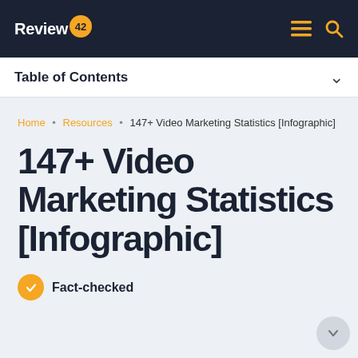Review42 | Table of Contents
Home • Resources • 147+ Video Marketing Statistics [Infographic]
147+ Video Marketing Statistics [Infographic]
Fact-checked